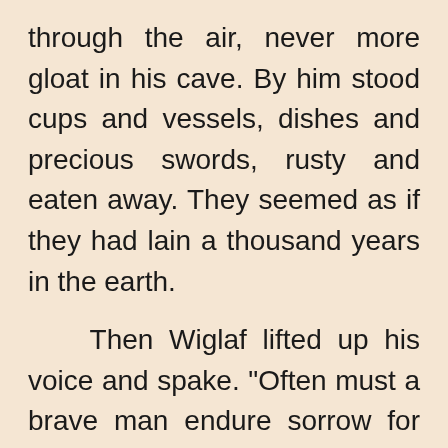through the air, never more gloat in his cave. By him stood cups and vessels, dishes and precious swords, rusty and eaten away. They seemed as if they had lain a thousand years in the earth.

    Then Wiglaf lifted up his voice and spake. "Often must a brave man endure sorrow for another, as it hath happened with us. We could in no wise hold our king back from this combat. The